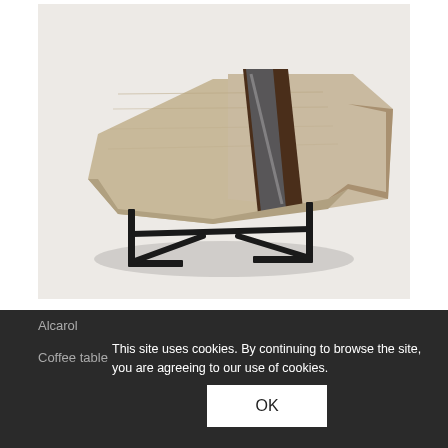[Figure (photo): A hexagonal wood and glass coffee table with dark walnut inlay stripe and black metal legs, photographed on a white background.]
Alcarol
Coffee table
This site uses cookies. By continuing to browse the site, you are agreeing to our use of cookies.
OK